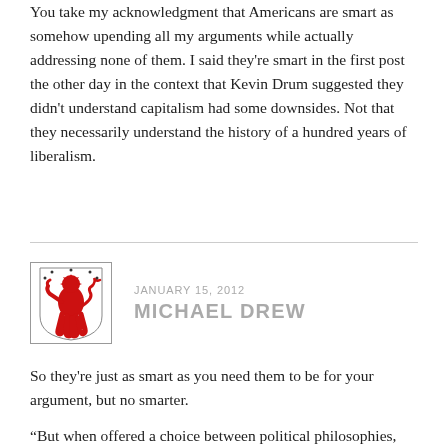You take my acknowledgment that Americans are smart as somehow upending all my arguments while actually addressing none of them. I said they're smart in the first post the other day in the context that Kevin Drum suggested they didn't understand capitalism had some downsides. Not that they necessarily understand the history of a hundred years of liberalism.
JANUARY 15, 2012
MICHAEL DREW
So they're just as smart as you need them to be for your argument, but no smarter.
“But when offered a choice between political philosophies, theories, worldviews, whatever you want to call them, Americans identify as conservative. ” That’s not the old saw, those are your words, as far as I could see. (But if you were just referencing the old saw, fair enough. In any case this is all in reference to what was just a parenthetical